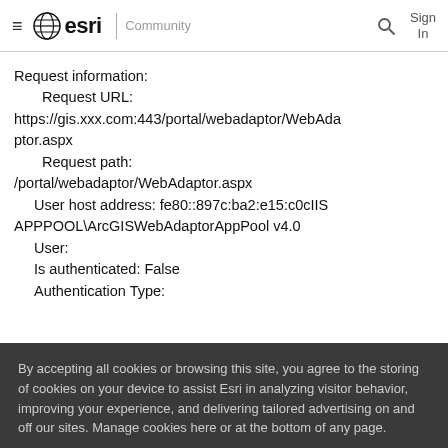esri | Community   Sign In
Request information:
    Request URL:
https://gis.xxx.com:443/portal/webadaptor/WebAdaptor.aspx
    Request path:
/portal/webadaptor/WebAdaptor.aspx
    User host address: fe80::897c:ba2:e15:c0cIIS APPPOOL\ArcGISWebAdaptorAppPool v4.0
    User:
    Is authenticated: False
    Authentication Type:
By accepting all cookies or browsing this site, you agree to the storing of cookies on your device to assist Esri in analyzing visitor behavior, improving your experience, and delivering tailored advertising on and off our sites. Manage cookies here or at the bottom of any page.